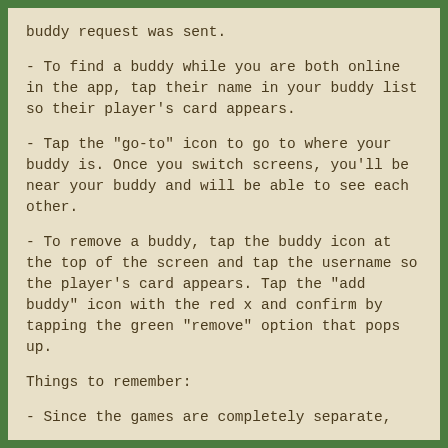buddy request was sent.
- To find a buddy while you are both online in the app, tap their name in your buddy list so their player's card appears.
- Tap the "go-to" icon to go to where your buddy is. Once you switch screens, you'll be near your buddy and will be able to see each other.
- To remove a buddy, tap the buddy icon at the top of the screen and tap the username so the player's card appears. Tap the "add buddy" icon with the red x and confirm by tapping the green "remove" option that pops up.
Things to remember:
- Since the games are completely separate,